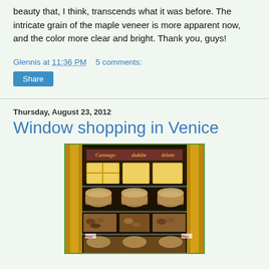beauty that, I think, transcends what it was before. The intricate grain of the maple veneer is more apparent now, and the color more clear and bright. Thank you, guys!
Glennis at 11:36 PM   5 comments:
Share
Thursday, August 23, 2012
Window shopping in Venice
[Figure (photo): A glass display case in a Venetian shop filled with pastries, cookies, and confections arranged on multiple shelves. The case has golden trim and is lit warmly, displaying various baked goods and sweets.]